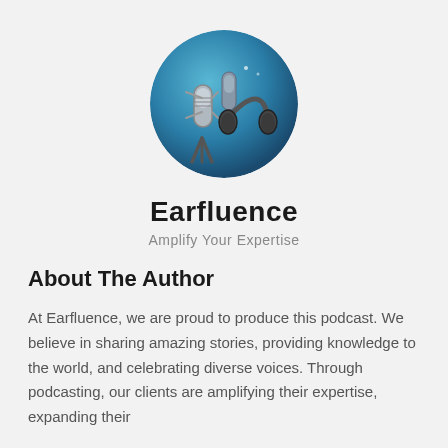[Figure (logo): Circular logo with a blue gradient background showing a studio microphone and headphones]
Earfluence
Amplify Your Expertise
About The Author
At Earfluence, we are proud to produce this podcast. We believe in sharing amazing stories, providing knowledge to the world, and celebrating diverse voices. Through podcasting, our clients are amplifying their expertise, expanding their